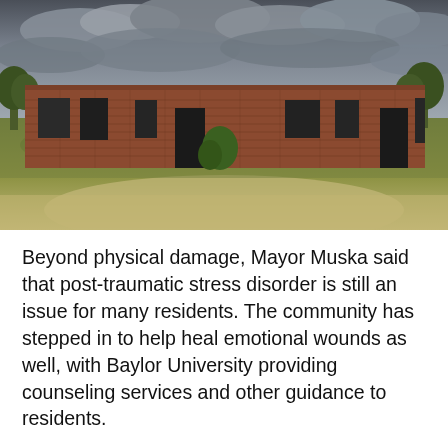[Figure (photo): Photograph of a low, long, deteriorated brick building with broken windows and doorways, set in an open grassy field under a cloudy, overcast sky. Trees are visible in the background on the left and right.]
Beyond physical damage, Mayor Muska said that post-traumatic stress disorder is still an issue for many residents. The community has stepped in to help heal emotional wounds as well, with Baylor University providing counseling services and other guidance to residents.
Another reminder of this incident came in the form of something much more positive — a park...